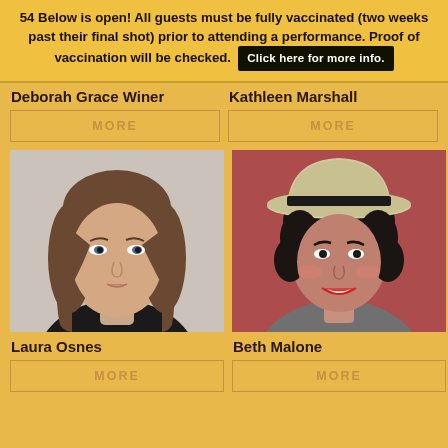54 Below is open! All guests must be fully vaccinated (two weeks past their final shot) prior to attending a performance. Proof of vaccination will be checked. Click here for more info.
Deborah Grace Winer
MORE
Kathleen Marshall
MORE
[Figure (photo): Headshot of Laura Osnes, a woman with shoulder-length brown hair wearing a black top against a light background]
Laura Osnes
MORE
[Figure (photo): Photo of Beth Malone, a woman with dark curly hair wearing a grey fedora hat and grey blazer against a red/mauve background, smiling broadly]
Beth Malone
MORE